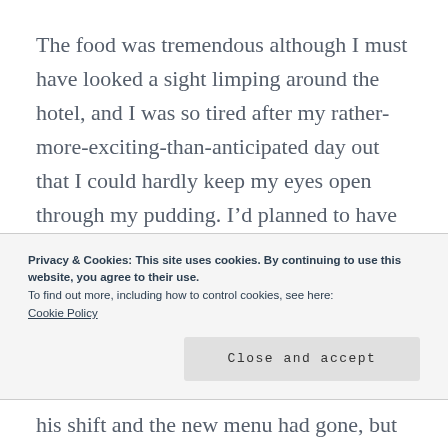The food was tremendous although I must have looked a sight limping around the hotel, and I was so tired after my rather-more-exciting-than-anticipated day out that I could hardly keep my eyes open through my pudding. I’d planned to have a whisky in the bar after, but headed straight off to the comfort of my incredibly toasty sleeping bag.
Privacy & Cookies: This site uses cookies. By continuing to use this website, you agree to their use.
To find out more, including how to control cookies, see here:
Cookie Policy
Close and accept
his shift and the new menu had gone, but